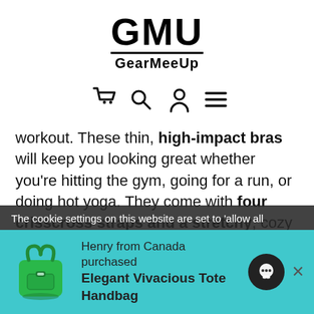[Figure (logo): GMU GearMeeUp logo with large bold GMU text underlined and GearMeeUp subtitle]
[Figure (other): Navigation icons: shopping cart, search, user, hamburger menu]
workout. These thin, high-impact bras will keep you looking great whether you're hitting the gym, going for a run, or doing hot yoga. They come with four crisscross straps and a stretchy, cozy fit to give your workout attire some flair.
The cookie settings on this website are set to 'allow all
Henry from Canada purchased Elegant Vivacious Tote Handbag